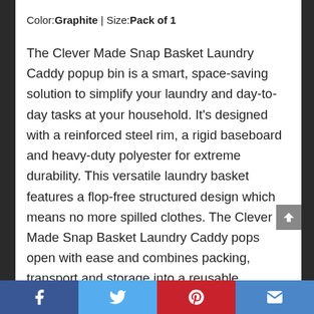Color:Graphite | Size:Pack of 1
The Clever Made Snap Basket Laundry Caddy popup bin is a smart, space-saving solution to simplify your laundry and day-to-day tasks at your household. It's designed with a reinforced steel rim, a rigid baseboard and heavy-duty polyester for extreme durability. This versatile laundry basket features a flop-free structured design which means no more spilled clothes. The Clever Made Snap Basket Laundry Caddy pops open with ease and combines packing, transport and storage into a reusable, collapsible tote. Great for travel,
Facebook | Twitter | Pinterest | Email